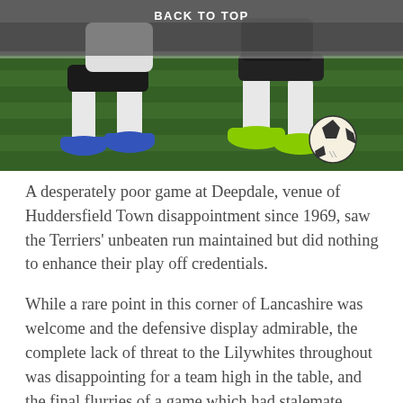[Figure (photo): Football action photo showing players' legs on a grass pitch at night, one player with a football, with 'BACK TO TOP' text overlay at the top center]
A desperately poor game at Deepdale, venue of Huddersfield Town disappointment since 1969, saw the Terriers' unbeaten run maintained but did nothing to enhance their play off credentials.
While a rare point in this corner of Lancashire was welcome and the defensive display admirable, the complete lack of threat to the Lilywhites throughout was disappointing for a team high in the table, and the final flurries of a game which had stalemate stamped all over it belonged to the home side who had a credible penalty shout in and amongst being thwarted by the excellent Nicholls.